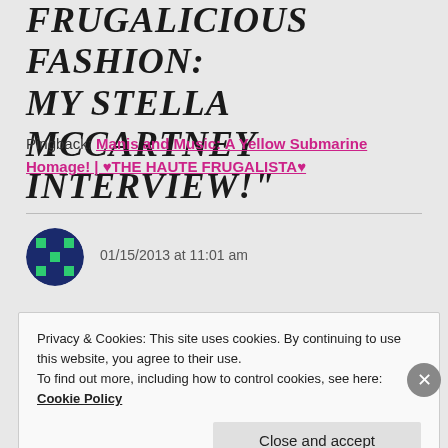FRUGALICIOUS FASHION: MY STELLA MCCARTNEY INTERVIEW!"
Pingback: Manis and Music: A Yellow Submarine Homage! | ♥THE HAUTE FRUGALISTA♥
01/15/2013 at 11:01 am
Privacy & Cookies: This site uses cookies. By continuing to use this website, you agree to their use.
To find out more, including how to control cookies, see here: Cookie Policy
Close and accept